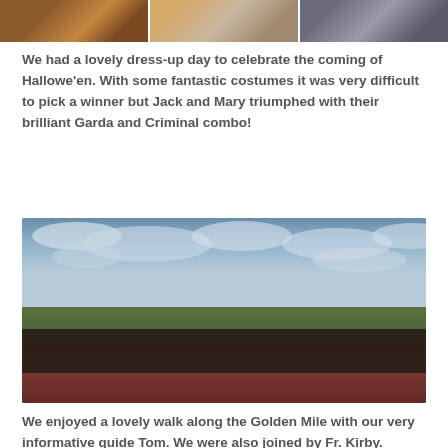[Figure (photo): Three partial photos of children in Halloween costumes shown at the top of the page as a strip]
We had a lovely dress-up day to celebrate the coming of Hallowe'en. With some fantastic costumes it was very difficult to pick a winner but Jack and Mary triumphed with their brilliant Garda and Criminal combo!
[Figure (photo): Group photo of children and adults in Halloween costumes standing on a running track outdoors with a cloudy sky in the background]
We enjoyed a lovely walk along the Golden Mile with our very informative guide Tom. We were also joined by Fr. Kirby.